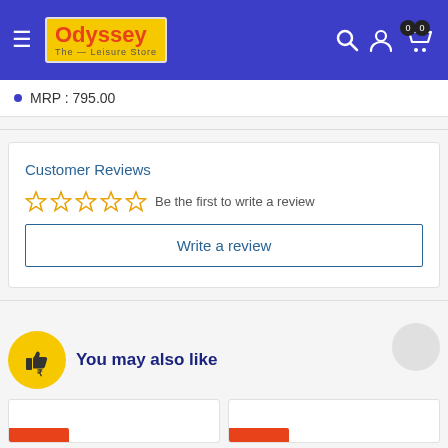[Figure (screenshot): Odyssey The Leisure Store navigation bar with hamburger menu, logo, search icon, user icon, and cart icon with badges showing 0]
MRP : 795.00
Customer Reviews
☆☆☆☆☆ Be the first to write a review
Write a review
You may also like